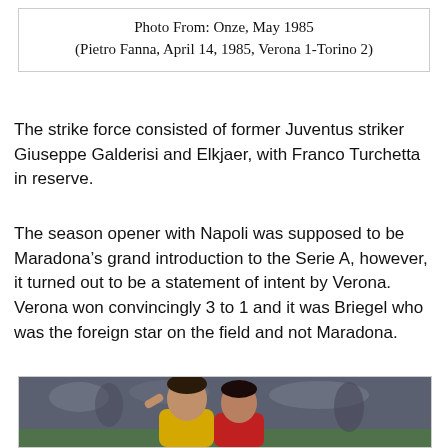Photo From: Onze, May 1985
(Pietro Fanna, April 14, 1985, Verona 1-Torino 2)
The strike force consisted of former Juventus striker Giuseppe Galderisi and Elkjaer, with Franco Turchetta in reserve.
The season opener with Napoli was supposed to be Maradona’s grand introduction to the Serie A, however, it turned out to be a statement of intent by Verona.
Verona won convincingly 3 to 1 and it was Briegel who was the foreign star on the field and not Maradona.
[Figure (photo): Football players in action, one in yellow shirt and one in red, jostling during a match. Photo from Onze magazine, April 14, 1985, Verona vs Torino.]